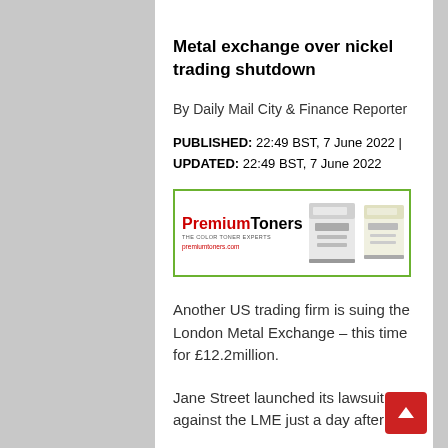Metal exchange over nickel trading shutdown
By Daily Mail City & Finance Reporter
PUBLISHED: 22:49 BST, 7 June 2022 | UPDATED: 22:49 BST, 7 June 2022
[Figure (illustration): PremiumToners advertisement banner with logo showing red 'Premium' and black 'Toners' text, tagline 'THE COLOR TONER EXPERTS', website premiumtoners.com, and images of two toner cartridge boxes on a green-bordered white background]
Another US trading firm is suing the London Metal Exchange – this time for £12.2million.
Jane Street launched its lawsuit against the LME just a day after